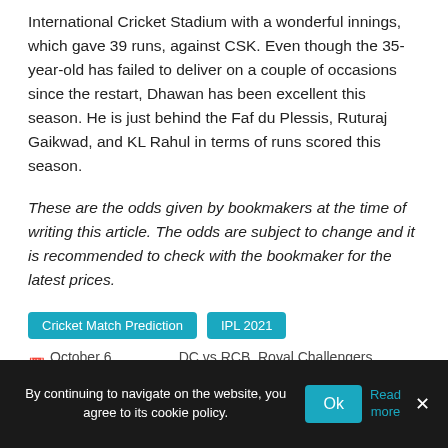International Cricket Stadium with a wonderful innings, which gave 39 runs, against CSK. Even though the 35-year-old has failed to deliver on a couple of occasions since the restart, Dhawan has been excellent this season. He is just behind the Faf du Plessis, Ruturaj Gaikwad, and KL Rahul in terms of runs scored this season.
These are the odds given by bookmakers at the time of writing this article. The odds are subject to change and it is recommended to check with the bookmaker for the latest prices.
Cricket Match Prediction
IPL 2021
October 6, 2021   DC vs RCB, Royal Challengers Bangalore
By continuing to navigate on the website, you agree to its cookie policy.